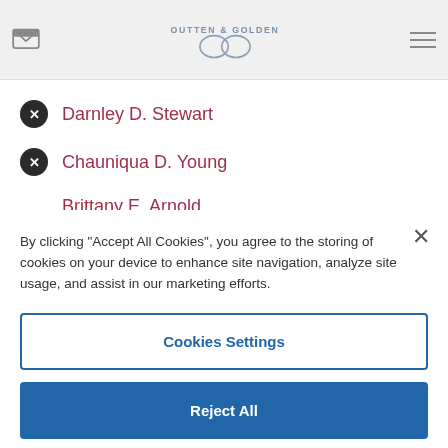Outten & Golden
Darnley D. Stewart
Chauniqua D. Young
Brittany E. Arnold
MORE +
By clicking "Accept All Cookies", you agree to the storing of cookies on your device to enhance site navigation, analyze site usage, and assist in our marketing efforts.
Cookies Settings
Reject All
Accept All Cookies